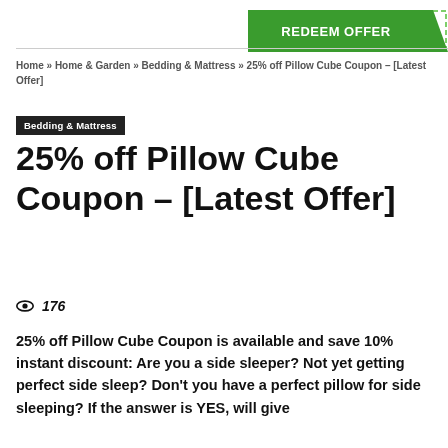[Figure (other): Green REDEEM OFFER button/banner in top right corner with dashed border]
Home » Home & Garden » Bedding & Mattress » 25% off Pillow Cube Coupon – [Latest Offer]
Bedding & Mattress
25% off Pillow Cube Coupon – [Latest Offer]
👁 176
25% off Pillow Cube Coupon is available and save 10% instant discount: Are you a side sleeper? Not yet getting perfect side sleep? Don't you have a perfect pillow for side sleeping? If the answer is YES, will give